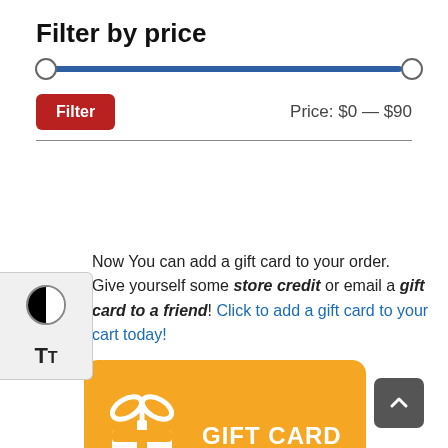Filter by price
[Figure (other): Price range slider from $0 to $90 with two circular thumb handles on a blue track]
Filter  Price: $0 — $90
Now You can add a gift card to your order. Give yourself some store credit or email a gift card to a friend! Click to add a gift card to your cart today!
[Figure (illustration): Orange gift card banner with white gift box icon and text GIFT CARD]